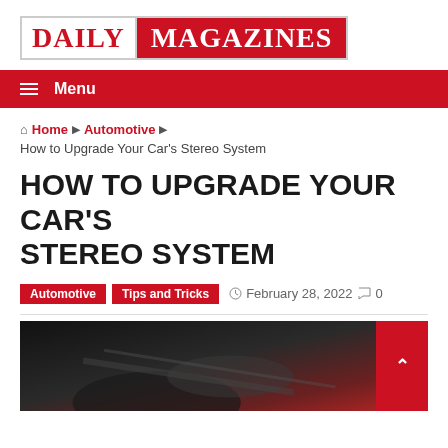DAILY MAGAZINES
Menu
Home > Automotive > How to Upgrade Your Car's Stereo System
HOW TO UPGRADE YOUR CAR'S STEREO SYSTEM
Automotive  Tips and Tricks  February 28, 2022  0
[Figure (photo): Dark interior car photo with blurred background showing car interior/dashboard elements with reddish tones]